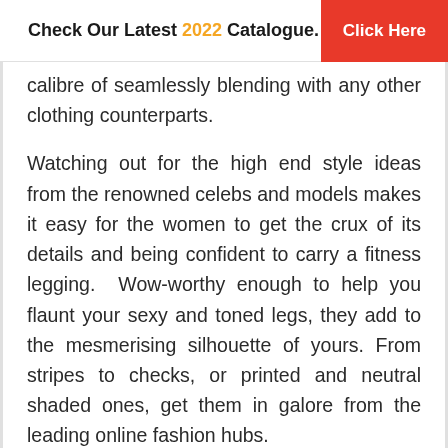Check Our Latest 2022 Catalogue. Click Here
calibre of seamlessly blending with any other clothing counterparts.
Watching out for the high end style ideas from the renowned celebs and models makes it easy for the women to get the crux of its details and being confident to carry a fitness legging. Wow-worthy enough to help you flaunt your sexy and toned legs, they add to the mesmerising silhouette of yours. From stripes to checks, or printed and neutral shaded ones, get them in galore from the leading online fashion hubs.
Here are some expert style tips to get